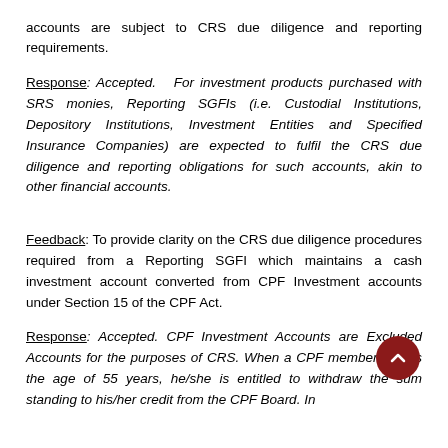accounts are subject to CRS due diligence and reporting requirements.
Response: Accepted. For investment products purchased with SRS monies, Reporting SGFIs (i.e. Custodial Institutions, Depository Institutions, Investment Entities and Specified Insurance Companies) are expected to fulfil the CRS due diligence and reporting obligations for such accounts, akin to other financial accounts.
Feedback: To provide clarity on the CRS due diligence procedures required from a Reporting SGFI which maintains a cash investment account converted from CPF Investment accounts under Section 15 of the CPF Act.
Response: Accepted. CPF Investment Accounts are Excluded Accounts for the purposes of CRS. When a CPF member attains the age of 55 years, he/she is entitled to withdraw the sum standing to his/her credit from the CPF Board. In